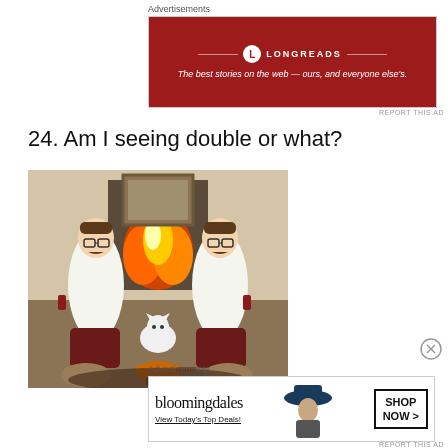Advertisements
[Figure (photo): Longreads advertisement banner: red background with Longreads logo and tagline 'The best stories on the web — ours, and everyone else's.']
REPORT THIS AD
24. Am I seeing double or what?
[Figure (photo): Two identical-looking men with mustaches wearing white turtleneck sweaters, sitting cross-legged by a fireplace holding glasses of red wine. A white cat sits between them. They wear matching boots and there is a fondue pot in front of them.]
Advertisements
[Figure (photo): Bloomingdale's advertisement banner: 'bloomingdales View Today's Top Deals!' with a woman wearing a large hat and a SHOP NOW > button.]
REPORT THIS AD